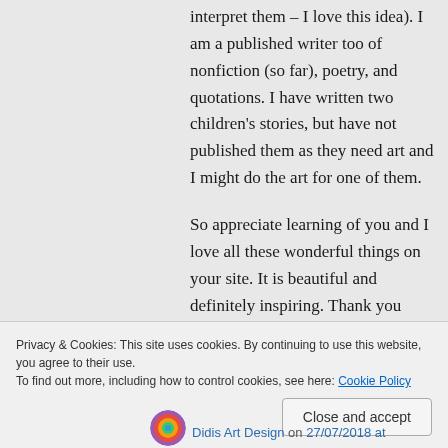interpret them – I love this idea). I am a published writer too of nonfiction (so far), poetry, and quotations. I have written two children's stories, but have not published them as they need art and I might do the art for one of them.

So appreciate learning of you and I love all these wonderful things on your site. It is beautiful and definitely inspiring. Thank you kindly.
Privacy & Cookies: This site uses cookies. By continuing to use this website, you agree to their use.
To find out more, including how to control cookies, see here: Cookie Policy
Close and accept
Didis Art Design on 27/07/2018 at